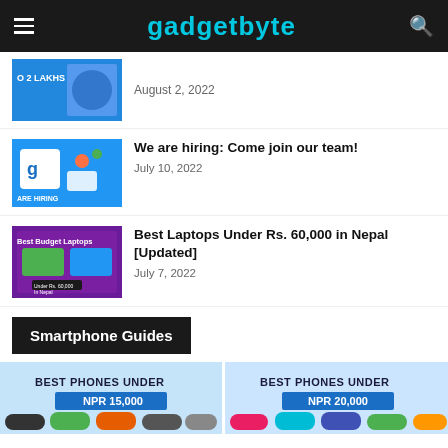gadgetbyte
August 2, 2022
We are hiring: Come join our team!
July 10, 2022
Best Laptops Under Rs. 60,000 in Nepal [Updated]
July 7, 2022
Smartphone Guides
[Figure (photo): Best Phones Under NPR 15,000 promotional image with smartphones]
[Figure (photo): Best Phones Under NPR 20,000 promotional image with smartphones]